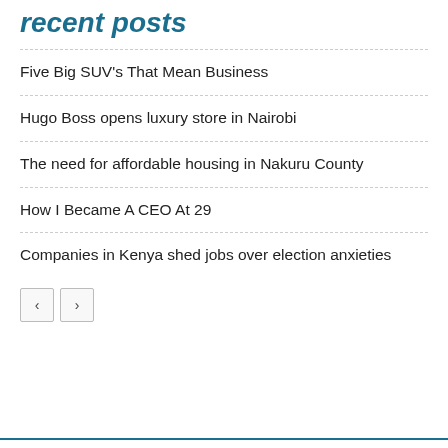recent posts
Five Big SUV's That Mean Business
Hugo Boss opens luxury store in Nairobi
The need for affordable housing in Nakuru County
How I Became A CEO At 29
Companies in Kenya shed jobs over election anxieties